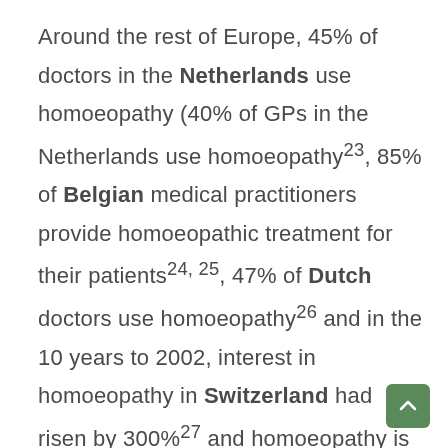Around the rest of Europe, 45% of doctors in the Netherlands use homoeopathy (40% of GPs in the Netherlands use homoeopathy23, 85% of Belgian medical practitioners provide homoeopathic treatment for their patients24, 25, 47% of Dutch doctors use homoeopathy26 and in the 10 years to 2002, interest in homoeopathy in Switzerland had risen by 300%27 and homoeopathy is rebatable by most health insurance providers27. In 19